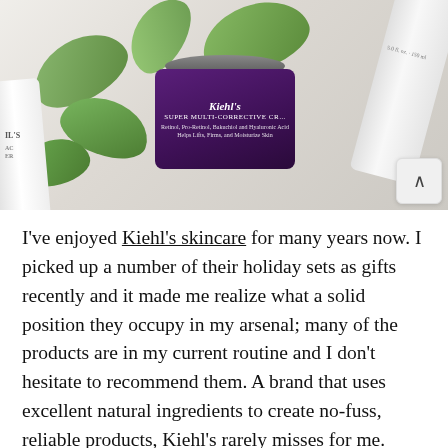[Figure (photo): A flatlay photo of Kiehl's skincare products including a purple multi-corrective cream jar with silver lid, two white tubes, and eucalyptus leaves on a light background.]
I've enjoyed Kiehl's skincare for many years now. I picked up a number of their holiday sets as gifts recently and it made me realize what a solid position they occupy in my arsenal; many of the products are in my current routine and I don't hesitate to recommend them. A brand that uses excellent natural ingredients to create no-fuss, reliable products, Kiehl's rarely misses for me. They are not the most exciting products in most cases but still, there they are, again and again. There are many other skincare brands I use and enjoy, and it takes a lot to stand